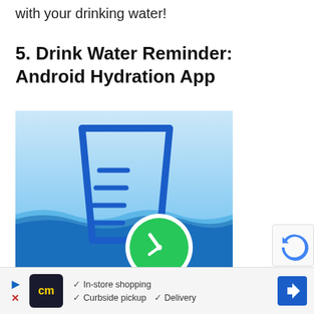with your drinking water!
5. Drink Water Reminder: Android Hydration App
[Figure (illustration): App icon for Drink Water Reminder: a blue measuring cup/glass with horizontal measurement lines, partially submerged in stylized blue water waves, with a green circle clock badge in the lower right. Background is light blue gradient.]
[Figure (other): reCAPTCHA badge partially visible in lower right corner]
In-store shopping  Curbside pickup  Delivery